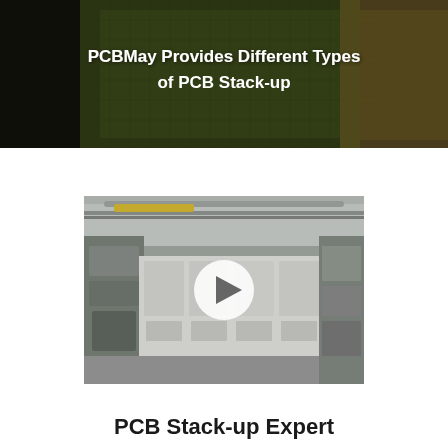[Figure (photo): Hero banner photo of a person examining a green PCB board, with dark overlay. Title text overlay reads: PCBMay Provides Different Types of PCB Stack-up]
PCBMay Provides Different Types of PCB Stack-up
[Figure (photo): Video thumbnail of a PCB manufacturing facility/factory floor showing industrial equipment and machinery, with a circular white play button overlay in the center.]
PCB Stack-up Expert